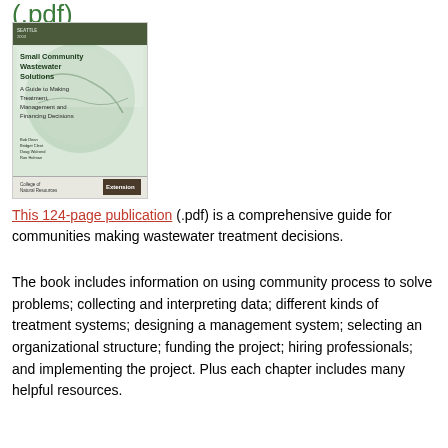(.pdf)
[Figure (photo): Book cover of 'Small Community Wastewater Solutions: A Guide to Making Treatment, Management and Financing Decisions' published by College of Natural Resources Extension]
This 124-page publication (.pdf) is a comprehensive guide for communities making wastewater treatment decisions.
The book includes information on using community process to solve problems; collecting and interpreting data; different kinds of treatment systems; designing a management system; selecting an organizational structure; funding the project; hiring professionals; and implementing the project. Plus each chapter includes many helpful resources.